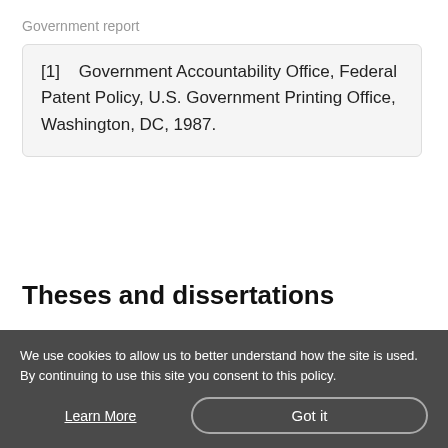Government report
[1]    Government Accountability Office, Federal Patent Policy, U.S. Government Printing Office, Washington, DC, 1987.
Theses and dissertations
Theses including Ph.D. dissertations, Master's theses or Bachelor theses follow the basic format outlined below
We use cookies to allow us to better understand how the site is used. By continuing to use this site you consent to this policy.
Learn More
Got it